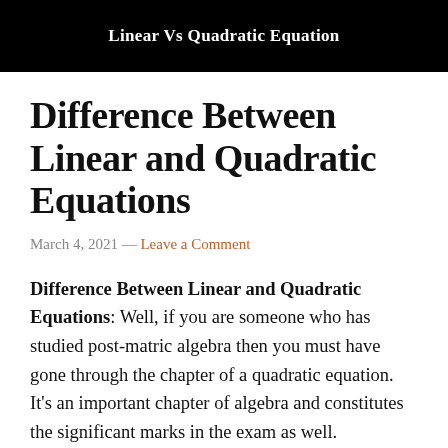Linear Vs Quadratic Equation
Difference Between Linear and Quadratic Equations
March 4, 2021 — Leave a Comment
Difference Between Linear and Quadratic Equations: Well, if you are someone who has studied post-matric algebra then you must have gone through the chapter of a quadratic equation. It's an important chapter of algebra and constitutes the significant marks in the exam as well.